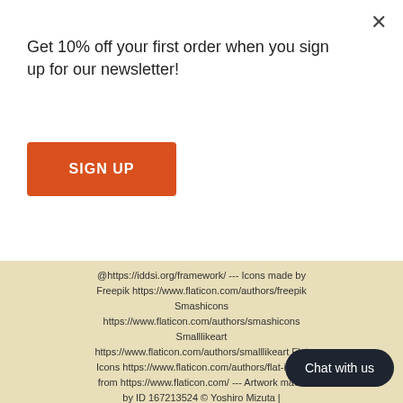Get 10% off your first order when you sign up for our newsletter!
SIGN UP
@https://iddsi.org/framework/ --- Icons made by Freepik https://www.flaticon.com/authors/freepik Smashicons https://www.flaticon.com/authors/smashicons Smalllikeart https://www.flaticon.com/authors/smalllikeart Flat Icons https://www.flaticon.com/authors/flat-icons from https://www.flaticon.com/ --- Artwork made by ID 167213524 © Yoshiro Mizuta | Dreamstime.com Powered by Shopify
[Figure (other): Payment method icons: AMEX, Apple Pay, JCB, Mastercard, Opay, Visa]
Chat with us